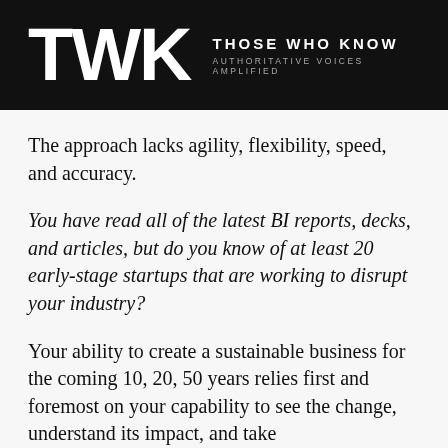[Figure (logo): TWK logo — large bold white letters 'TWK' on black background, with 'THOSE WHO KNOW' and 'AUTHORITATIVE VOICES AMPLIFIED' tagline to the right]
The approach lacks agility, flexibility, speed, and accuracy.
You have read all of the latest BI reports, decks, and articles, but do you know of at least 20 early-stage startups that are working to disrupt your industry?
Your ability to create a sustainable business for the coming 10, 20, 50 years relies first and foremost on your capability to see the change, understand its impact, and take